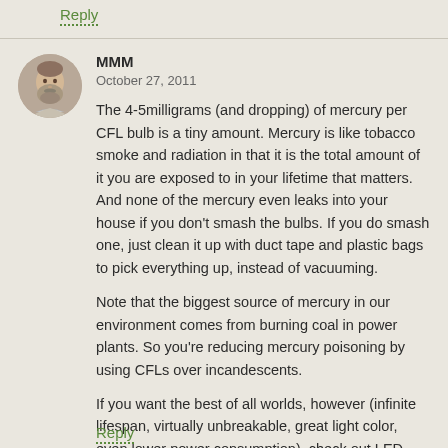Reply
MMM
October 27, 2011
The 4-5milligrams (and dropping) of mercury per CFL bulb is a tiny amount. Mercury is like tobacco smoke and radiation in that it is the total amount of it you are exposed to in your lifetime that matters. And none of the mercury even leaks into your house if you don't smash the bulbs. If you do smash one, just clean it up with duct tape and plastic bags to pick everything up, instead of vacuuming.
Note that the biggest source of mercury in our environment comes from burning coal in power plants. So you're reducing mercury poisoning by using CFLs over incandescents.
If you want the best of all worlds, however (infinite lifespan, virtually unbreakable, great light color, even lower power consumption), check out LED bulbs. They are still a bit pricey, but I'm using one in my kitchen so far in place of one of the GU10 Halogen bulbs to test it out – it is very nice.
Reply